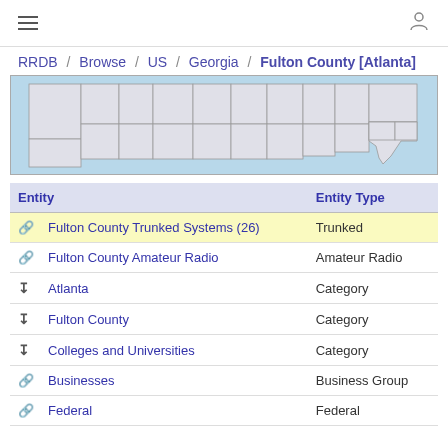≡   [user icon]
RRDB / Browse / US / Georgia / Fulton County [Atlanta]
[Figure (map): Partial map of the United States showing state boundaries, light blue background with gray state outlines, zoomed to show western/central US]
| Entity | Entity Type |
| --- | --- |
| Fulton County Trunked Systems (26) | Trunked |
| Fulton County Amateur Radio | Amateur Radio |
| Atlanta | Category |
| Fulton County | Category |
| Colleges and Universities | Category |
| Businesses | Business Group |
| Federal | Federal |